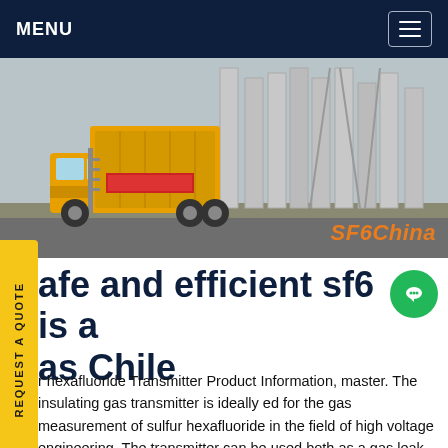MENU
[Figure (photo): Yellow service truck parked at a high-voltage electrical substation with large industrial pipes and steel structures in background. Watermark: SF6China]
afe and efficient sf6 is a as Chile
r hexafluoride Transmitter Product Information, master. The insulating gas transmitter is ideally ed for the gas measurement of sulfur hexafluoride in the field of high voltage engineering. The transmitter can be used both as a gas leak detector and to monitor the gas quality in gas-insulated switchgear (GIS) or transformers.